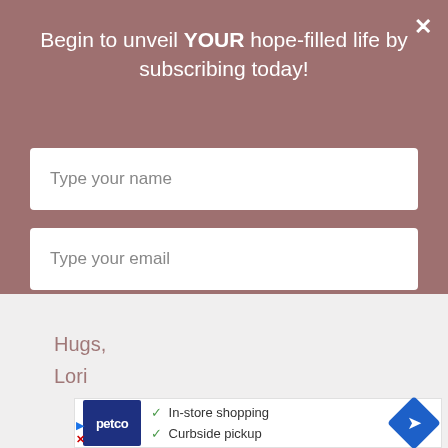Begin to unveil YOUR hope-filled life by subscribing today!
Type your name
Type your email
SUBMIT
Hugs,
Lori
[Figure (screenshot): Petco advertisement showing logo, In-store shopping and Curbside pickup options, with navigation arrow icon]